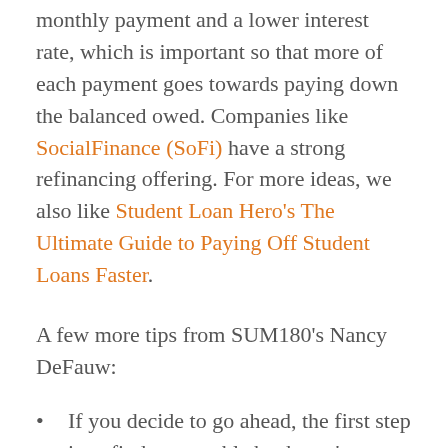monthly payment and a lower interest rate, which is important so that more of each payment goes towards paying down the balanced owed. Companies like SocialFinance (SoFi) have a strong refinancing offering. For more ideas, we also like Student Loan Hero's The Ultimate Guide to Paying Off Student Loans Faster.
A few more tips from SUM180's Nancy DeFauw:
If you decide to go ahead, the first step is to find a reputable bank you're comfortable